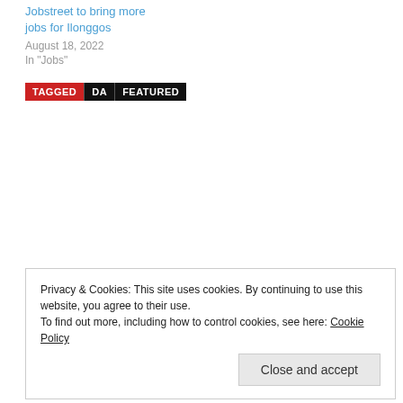Jobstreet to bring more jobs for Ilonggos
August 18, 2022
In "Jobs"
TAGGED  DA  FEATURED
Privacy & Cookies: This site uses cookies. By continuing to use this website, you agree to their use.
To find out more, including how to control cookies, see here: Cookie Policy
Close and accept